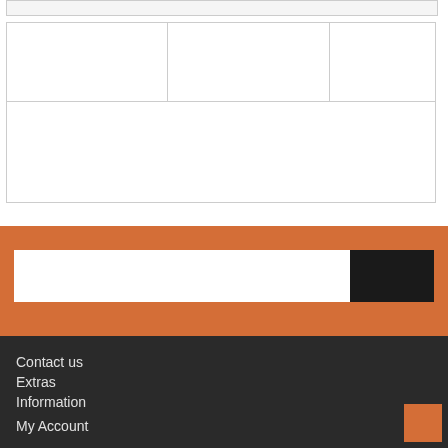[Figure (screenshot): Top bar element, light gray filled rectangle]
[Figure (screenshot): Product grid with 3 cells in top row and one wide cell spanning full width below]
[Figure (screenshot): Orange search bar section with white input field and black search button]
Contact us
Extras
Information
My Account
[Figure (screenshot): Small orange square in bottom right of footer]